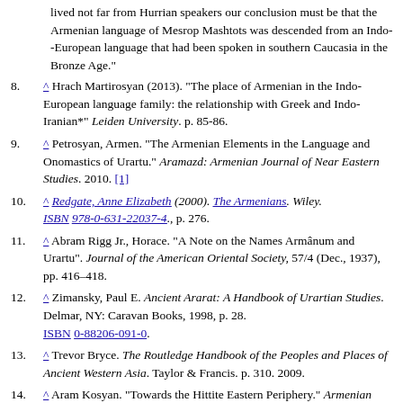lived not far from Hurrian speakers our conclusion must be that the Armenian language of Mesrop Mashtots was descended from an Indo--European language that had been spoken in southern Caucasia in the Bronze Age."
8. ^ Hrach Martirosyan (2013). "The place of Armenian in the Indo-European language family: the relationship with Greek and Indo-Iranian*" Leiden University. p. 85-86.
9. ^ Petrosyan, Armen. "The Armenian Elements in the Language and Onomastics of Urartu." Aramazd: Armenian Journal of Near Eastern Studies. 2010. [1]
10. ^ Redgate, Anne Elizabeth (2000). The Armenians. Wiley. ISBN 978-0-631-22037-4., p. 276.
11. ^ Abram Rigg Jr., Horace. "A Note on the Names Armânum and Urartu". Journal of the American Oriental Society, 57/4 (Dec., 1937), pp. 416–418.
12. ^ Zimansky, Paul E. Ancient Ararat: A Handbook of Urartian Studies. Delmar, NY: Caravan Books, 1998, p. 28. ISBN 0-88206-091-0.
13. ^ Trevor Bryce. The Routledge Handbook of the Peoples and Places of Ancient Western Asia. Taylor & Francis. p. 310. 2009.
14. ^ Aram Kosyan. "Towards the Hittite Eastern Periphery." Armenian Journal of Near Eastern Studies. Vol. VI. Issue 2. 2011. pp. 91-92. https://www.academia.edu/3712167/Towards_the_Hittite_East